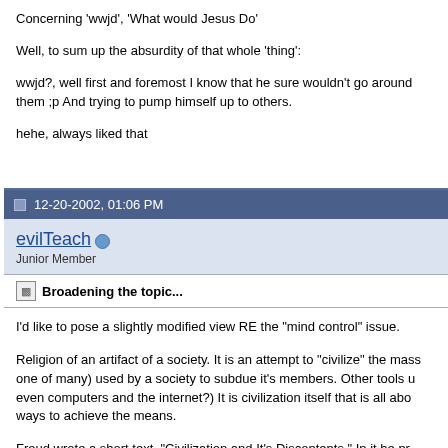Concerning 'wwjd', 'What would Jesus Do'

Well, to sum up the absurdity of that whole 'thing':

wwjd?, well first and foremost I know that he sure wouldn't go around them ;p And trying to pump himself up to others.

hehe, always liked that
12-20-2002, 01:06 PM
evilTeach
Junior Member
Broadening the topic...
I'd like to pose a slightly modified view RE the "mind control" issue.

Religion of an artifact of a society. It is an attempt to "civilize" the mass one of many) used by a society to subdue it's members. Other tools u even computers and the internet?) It is civilization itself that is all abo ways to achieve the means.

Freud wrote a short text, "Civilization and It's Discontents." In it he pr mankind's primal nature, but that this attempt is destined to fail. If you they'll find another way to re-emerge.